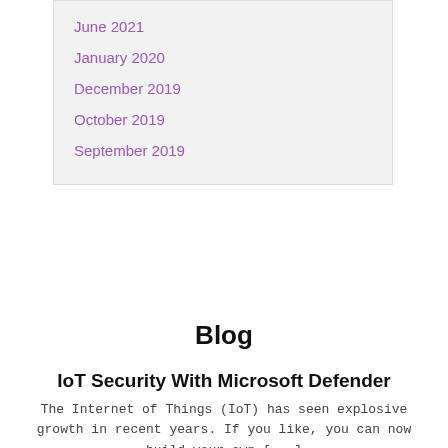June 2021
January 2020
December 2019
October 2019
September 2019
Blog
IoT Security With Microsoft Defender
The Internet of Things (IoT) has seen explosive growth in recent years. If you like, you can now build your own [...]
Hackers Use VoIP Systems To Install PHP Web Shells
Security researchers at Unit 42, a division of Palo Alto Networks, have been tracking the efforts of a massive campaign [...]